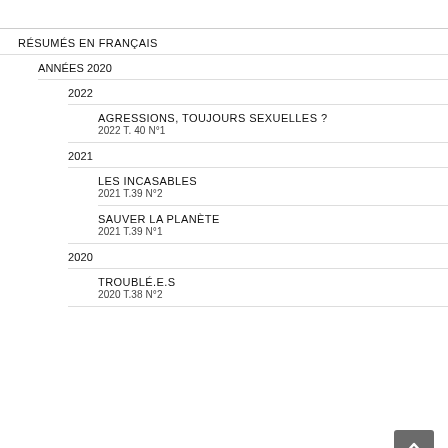RÉSUMÉS EN FRANÇAIS
ANNÉES 2020
2022
AGRESSIONS, TOUJOURS SEXUELLES ?
2022 T. 40 N°1
2021
LES INCASABLES
2021 T.39 N°2
SAUVER LA PLANÈTE
2021 T.39 N°1
2020
TROUBLÉ.E.S
2020 T.38 N°2